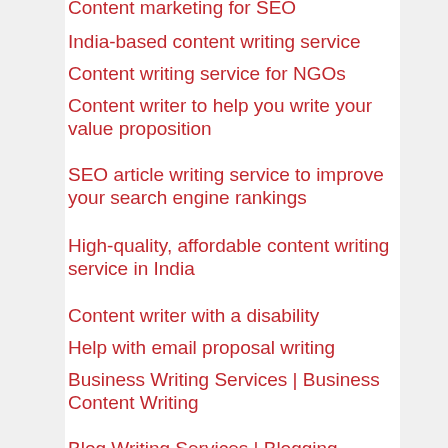Content marketing for SEO
India-based content writing service
Content writing service for NGOs
Content writer to help you write your value proposition
SEO article writing service to improve your search engine rankings
High-quality, affordable content writing service in India
Content writer with a disability
Help with email proposal writing
Business Writing Services | Business Content Writing
Blog Writing Services | Blogging Services | SEO Blogging Services
Professional SEO Content Writing Services | SEO Content Writer
Website Content Auditing Services
Content writing services for email